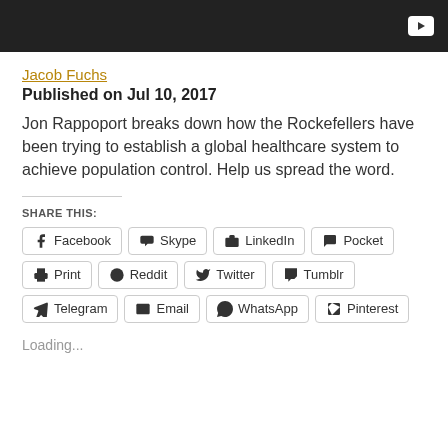[Figure (screenshot): Dark video player bar with YouTube play button icon on the right]
Jacob Fuchs
Published on Jul 10, 2017
Jon Rappoport breaks down how the Rockefellers have been trying to establish a global healthcare system to achieve population control. Help us spread the word.
SHARE THIS:
Facebook  Skype  LinkedIn  Pocket  Print  Reddit  Twitter  Tumblr  Telegram  Email  WhatsApp  Pinterest
Loading...